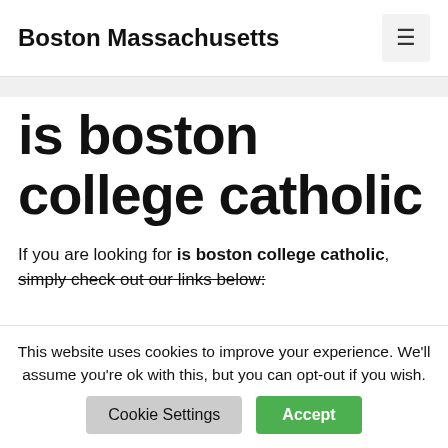Boston Massachusetts
is boston college catholic
If you are looking for is boston college catholic, simply check out our links below:
This website uses cookies to improve your experience. We'll assume you're ok with this, but you can opt-out if you wish. Cookie Settings Accept